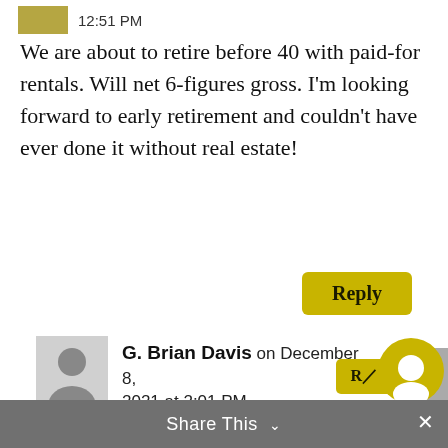12:51 PM
We are about to retire before 40 with paid-for rentals. Will net 6-figures gross. I'm looking forward to early retirement and couldn't have ever done it without real estate!
Reply
G. Brian Davis on December 8, 2021 at 2:01 PM
I love it Lisa! Congratulations!
Share This